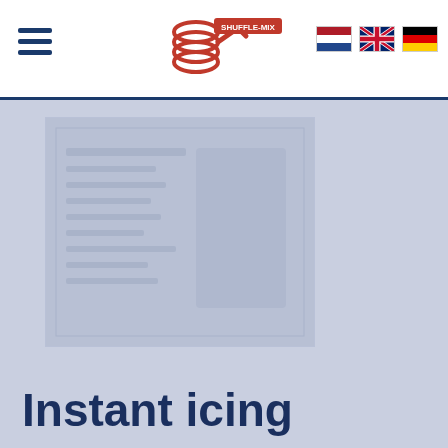Shuffle-Mix website header with hamburger menu, logo, and language flags (NL, EN, DE)
[Figure (photo): Faded/watermarked product image of Shuffle-Mix instant icing product on a blue-grey background]
Instant icing